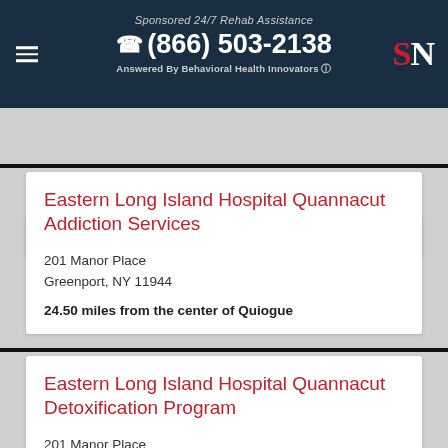Sponsored 24/7 Rehab Assistance | (866) 503-2138 | Answered By Behavioral Health Innovators
24.50 miles from the center of Quiogue
Eastern Long Island Hospital Quannacut Addiction Services
201 Manor Place
Greenport, NY 11944
24.50 miles from the center of Quiogue
Eastern Long Island Hospital Quannacut Detoxification Program
201 Manor Place
Greenport, NY 11944